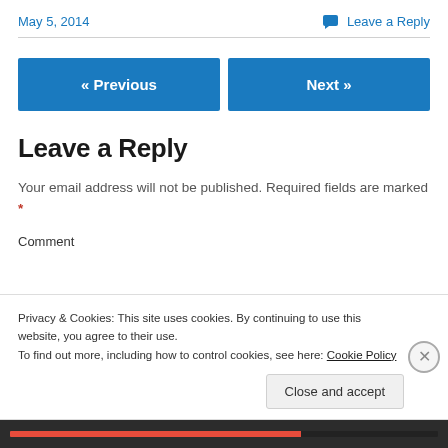May 5, 2014
Leave a Reply
« Previous
Next »
Leave a Reply
Your email address will not be published. Required fields are marked *
Privacy & Cookies: This site uses cookies. By continuing to use this website, you agree to their use.
To find out more, including how to control cookies, see here: Cookie Policy
Close and accept